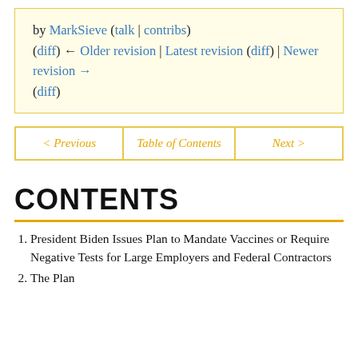by MarkSieve (talk | contribs) (diff) ← Older revision | Latest revision (diff) | Newer revision → (diff)
| < Previous | Table of Contents | Next > |
| --- | --- | --- |
CONTENTS
1. President Biden Issues Plan to Mandate Vaccines or Require Negative Tests for Large Employers and Federal Contractors
2. The Plan